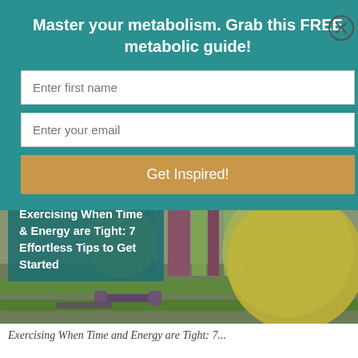Master your metabolism. Grab this FREE metabolic guide!
Enter first name
Enter your email
Get Inspired!
[Figure (photo): Fitness room with yellow exercise balls on green yoga mats, purple equipment in background]
Exercising When Time & Energy are Tight: 7 Effortless Tips to Get Started
Exercising When Time and Energy are Tight: 7...